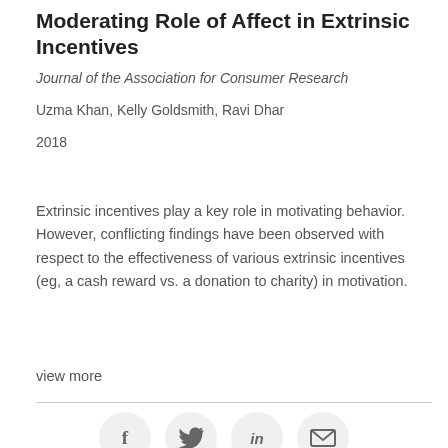Moderating Role of Affect in Extrinsic Incentives
Journal of the Association for Consumer Research
Uzma Khan, Kelly Goldsmith, Ravi Dhar
2018
Extrinsic incentives play a key role in motivating behavior. However, conflicting findings have been observed with respect to the effectiveness of various extrinsic incentives (eg, a cash reward vs. a donation to charity) in motivation.
view more
[Figure (infographic): Social sharing icons in circular buttons: Facebook (f), Twitter (bird), LinkedIn (in), Email (envelope)]